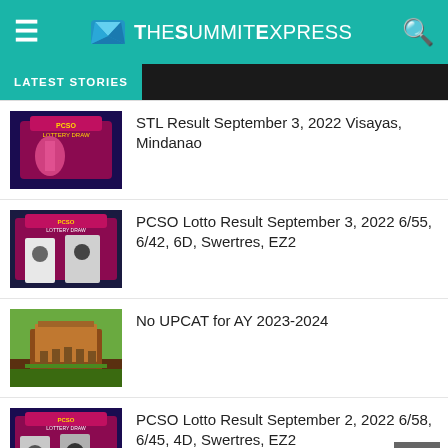TheSummitExpress
LATEST STORIES
STL Result September 3, 2022 Visayas, Mindanao
PCSO Lotto Result September 3, 2022 6/55, 6/42, 6D, Swertres, EZ2
No UPCAT for AY 2023-2024
PCSO Lotto Result September 2, 2022 6/58, 6/45, 4D, Swertres, EZ2